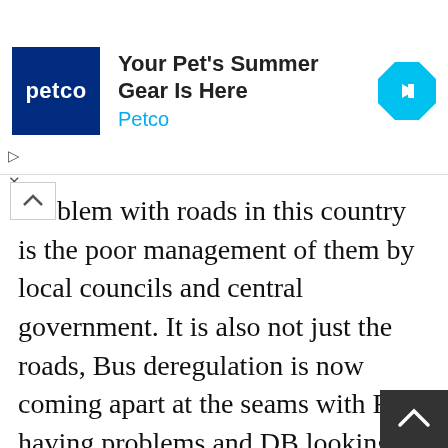[Figure (other): Petco advertisement banner: Petco logo (dark blue square with white 'petco' text), headline 'Your Pet's Summer Gear Is Here', subtext 'Petco', and a blue diamond navigation arrow icon on the right.]
...blem with roads in this country is the poor management of them by local councils and central government. It is also not just the roads, Bus deregulation is now coming apart at the seams with First having problems and DB looking at possibly selling Arriva. Trains are just as bad with lack of investment for many years now causing so many headaches in both the cost of upgrading and capacit... As with much of the UK we tear ourselves